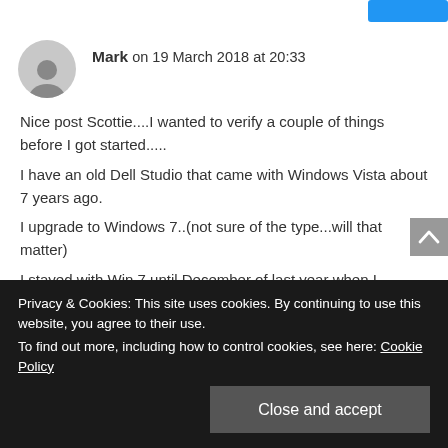Mark on 19 March 2018 at 20:33
Nice post Scottie....I wanted to verify a couple of things before I got started.....
I have an old Dell Studio that came with Windows Vista about 7 years ago.
I upgrade to Windows 7..(not sure of the type...will that matter)
I stayed with Win 7 until December of last year when I upgraded with the Win 10 Assistive Upgrade.. (visual impairment)
Privacy & Cookies: This site uses cookies. By continuing to use this website, you agree to their use.
To find out more, including how to control cookies, see here: Cookie Policy
Close and accept